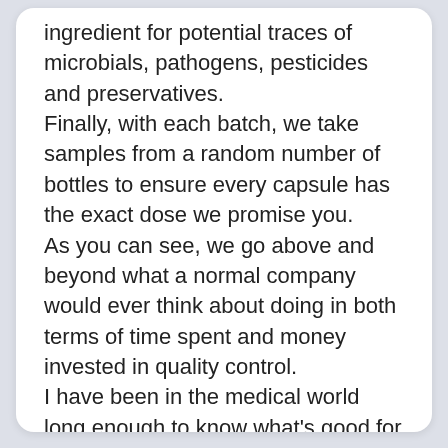ingredient for potential traces of microbials, pathogens, pesticides and preservatives. Finally, with each batch, we take samples from a random number of bottles to ensure every capsule has the exact dose we promise you. As you can see, we go above and beyond what a normal company would ever think about doing in both terms of time spent and money invested in quality control. I have been in the medical world long enough to know what's good for you and what not. And I could never ever put my name on something that is subpar.